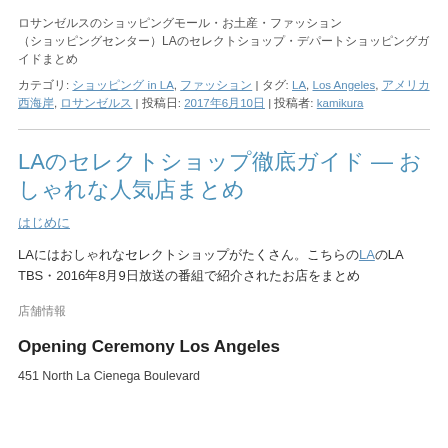ロサンゼルスのショッピングモール・お土産・ファッション (ショッピングセンター)LAのセレクトショップ・デパートショッピングガイドまとめ
カテゴリ: ショッピング in LA, ファッション | タグ: LA, Los Angeles, アメリカ西海岸, ロサンゼルス | 投稿日: 2017年6月10日 | 投稿者: kamikura
LAのセレクトショップ徹底ガイド — おしゃれな人気店まとめ
はじめに
LAにはおしゃれなセレクトショップがたくさん。こちらのLAのTBS・2016年8月9日放送の番組で紹介されたお店をまとめ
店舗情報
Opening Ceremony Los Angeles
451 North La Cienega Boulevard